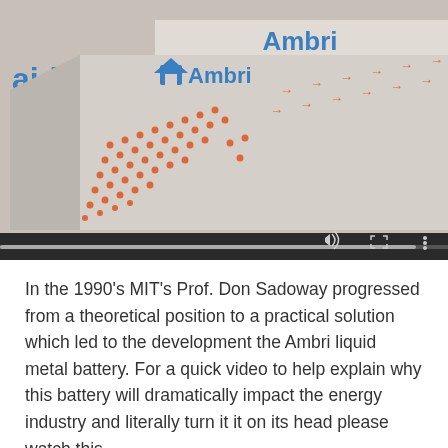[Figure (screenshot): Screenshot of a video player showing an Ambri liquid metal battery product box — a metallic cube with the Ambri logo in blue and orange dot/arrow pattern decoration. The box shows partial text 'aid', 'al+', 'tery' on the left side. The right side of the video frame is black. A video control bar is visible at the bottom with a progress bar, volume icon, fullscreen icon, and a more-options (three dots) icon.]
In the 1990's MIT's Prof. Don Sadoway progressed from a theoretical position to a practical solution which led to the development the Ambri liquid metal battery. For a quick video to help explain why this battery will dramatically impact the energy industry and literally turn it it on its head please watch this.